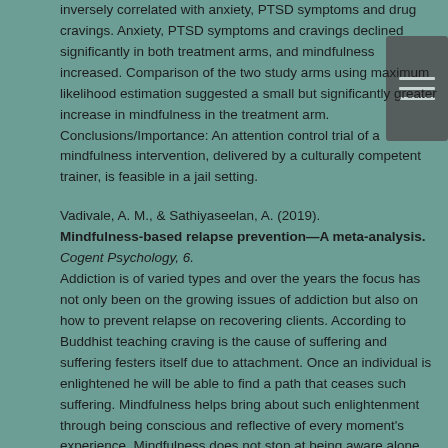inversely correlated with anxiety, PTSD symptoms and drug cravings. Anxiety, PTSD symptoms and cravings declined significantly in both treatment arms, and mindfulness increased. Comparison of the two study arms using maximum likelihood estimation suggested a small but significantly greater increase in mindfulness in the treatment arm. Conclusions/Importance: An attention control trial of a mindfulness intervention, delivered by a culturally competent trainer, is feasible in a jail setting.
Vadivale, A. M., & Sathiyaseelan, A. (2019). Mindfulness-based relapse prevention—A meta-analysis. Cogent Psychology, 6. Addiction is of varied types and over the years the focus has not only been on the growing issues of addiction but also on how to prevent relapse on recovering clients. According to Buddhist teaching craving is the cause of suffering and suffering festers itself due to attachment. Once an individual is enlightened he will be able to find a path that ceases such suffering. Mindfulness helps bring about such enlightenment through being conscious and reflective of every moment's experience. Mindfulness does not stop at being aware alone but extends its teaching to accepting such experiences as they are and letting go. Relapse prevention has long been researched on and new therapies developed to facilitate the same. This conceptual paper looks at how Mindfulness-based relapse prevention therapy works to prevent relapses. The paper focuses on understanding each of the eight-week therapy process and how it progresses in changing thoughts and reducing stress. The paper shows how Mindfulness-based relapse